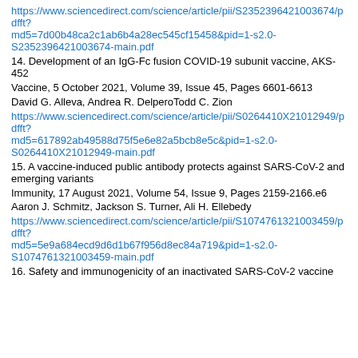https://www.sciencedirect.com/science/article/pii/S2352396421003674/pdfft?md5=7d00b48ca2c1ab6b4a28ec545cf15458&pid=1-s2.0-S2352396421003674-main.pdf
14. Development of an IgG-Fc fusion COVID-19 subunit vaccine, AKS-452
Vaccine, 5 October 2021, Volume 39, Issue 45, Pages 6601-6613
David G. Alleva, Andrea R. DelperoTodd C. Zion
https://www.sciencedirect.com/science/article/pii/S0264410X21012949/pdfft?md5=617892ab49588d75f5e6e82a5bcb8e5c&pid=1-s2.0-S0264410X21012949-main.pdf
15. A vaccine-induced public antibody protects against SARS-CoV-2 and emerging variants
Immunity, 17 August 2021, Volume 54, Issue 9, Pages 2159-2166.e6
Aaron J. Schmitz, Jackson S. Turner, Ali H. Ellebedy
https://www.sciencedirect.com/science/article/pii/S1074761321003459/pdfft?md5=5e9a684ecd9d6d1b67f956d8ec84a719&pid=1-s2.0-S1074761321003459-main.pdf
16. Safety and immunogenicity of an inactivated SARS-CoV-2 vaccine